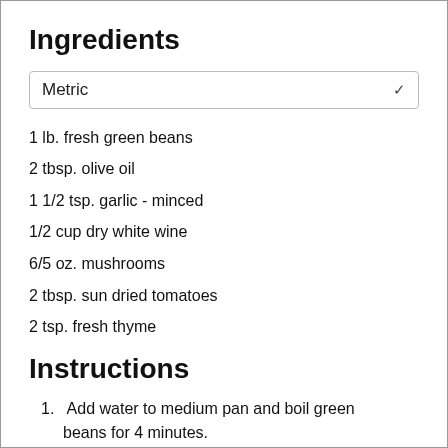Ingredients
Metric
1 lb. fresh green beans
2 tbsp. olive oil
1 1/2 tsp. garlic - minced
1/2 cup dry white wine
6/5 oz. mushrooms
2 tbsp. sun dried tomatoes
2 tsp. fresh thyme
Instructions
1. Add water to medium pan and boil green beans for 4 minutes.